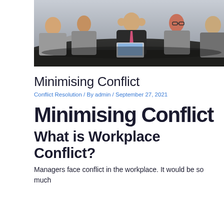[Figure (photo): Business meeting scene with five professionals around a conference table. A central man in a suit with a pink tie holds his head in his hands looking stressed, while other colleagues gesture and argue around him. A laptop is open on the table.]
Minimising Conflict
Conflict Resolution / By admin / September 27, 2021
Minimising Conflict
What is Workplace Conflict?
Managers face conflict in the workplace. It would be so much